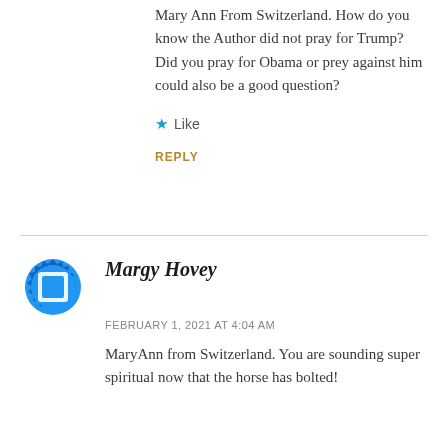Mary Ann From Switzerland. How do you know the Author did not pray for Trump? Did you pray for Obama or prey against him could also be a good question?
★ Like
REPLY
Margy Hovey
FEBRUARY 1, 2021 AT 4:04 AM
MaryAnn from Switzerland. You are sounding super spiritual now that the horse has bolted!